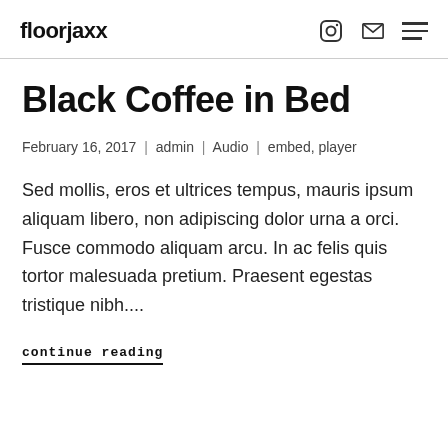floorjaxx
Black Coffee in Bed
February 16, 2017 | admin | Audio | embed, player
Sed mollis, eros et ultrices tempus, mauris ipsum aliquam libero, non adipiscing dolor urna a orci. Fusce commodo aliquam arcu. In ac felis quis tortor malesuada pretium. Praesent egestas tristique nibh....
continue reading